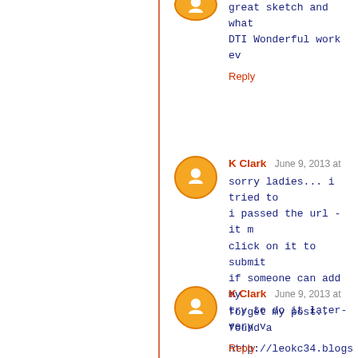great sketch and what... DTI Wonderful work ev...
Reply
K Clark  June 9, 2013 at
sorry ladies... i tried to
i passed the url - it m...
click on it to submit
if someone can add my
try to do it later- very v...

http://leokc34.blogspot...
1987.html
Reply
K Clark  June 9, 2013 at
forget my post.. found a...
Reply